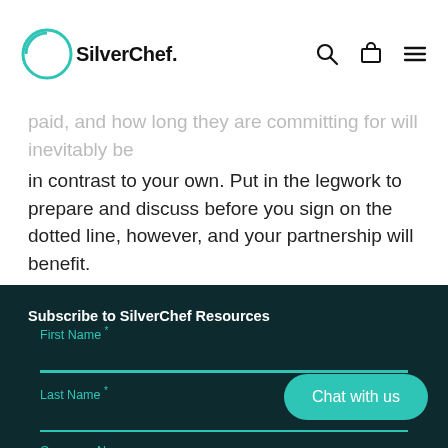SilverChef.
paid, and how long they are committing for will inevitably be in contrast to your own. Put in the legwork to prepare and discuss before you sign on the dotted line, however, and your partnership will benefit.
Subscribe to SilverChef Resources
First Name *
Last Name *
Company Name
Chat with us